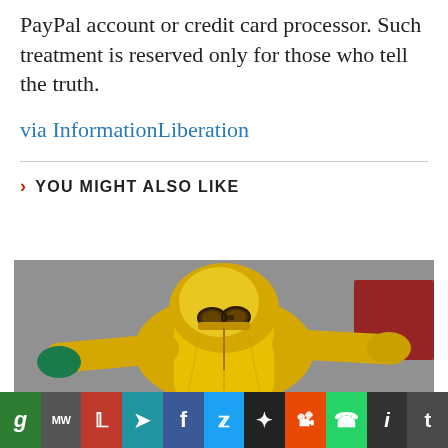PayPal account or credit card processor. Such treatment is reserved only for those who tell the truth.
via InformationLiberation
YOU MIGHT ALSO LIKE
[Figure (photo): Person wearing a yellow hazmat suit with goggles and green gloves, arms spread wide, standing in front of a grey wall]
[Figure (other): Social media sharing bar with icons for Gab, MeWe, Parler, Telegram, Facebook, Twitter, Locals, Reddit, WhatsApp, Instapaper, Tumblr]